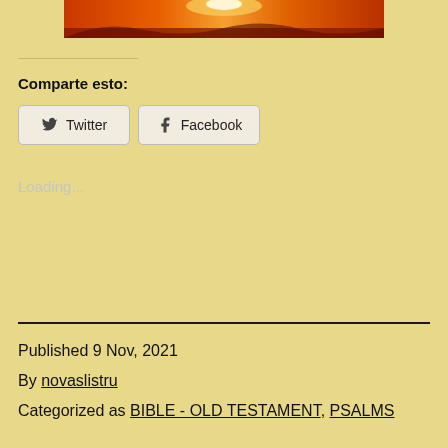[Figure (photo): Sunset image with orange and red sky, banner style]
Comparte esto:
Twitter
Facebook
Loading...
Published 9 Nov, 2021
By novaslistru
Categorized as BIBLE - OLD TESTAMENT, PSALMS